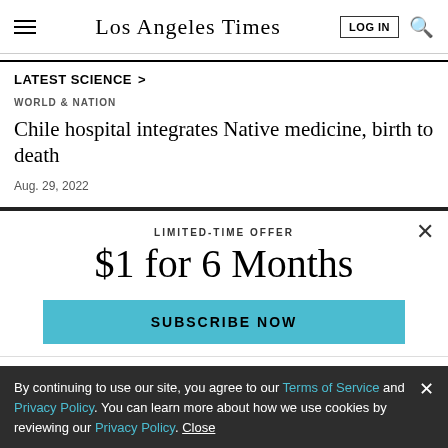Los Angeles Times
LATEST SCIENCE
WORLD & NATION
Chile hospital integrates Native medicine, birth to death
Aug. 29, 2022
LIMITED-TIME OFFER
$1 for 6 Months
SUBSCRIBE NOW
By continuing to use our site, you agree to our Terms of Service and Privacy Policy. You can learn more about how we use cookies by reviewing our Privacy Policy. Close